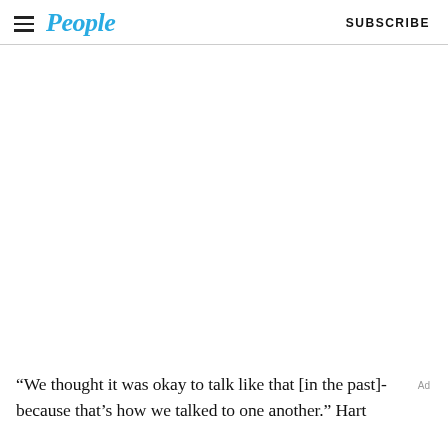People | SUBSCRIBE
“We thought it was okay to talk like that [in the past]- because that’s how we talked to one another.” Hart